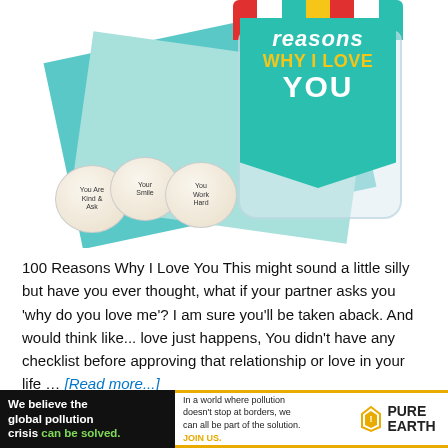[Figure (photo): A glass jar with a teal label reading 'reasons WHY I LOVE YOU' surrounded by Reese's-style chocolate candies with handwritten notes on their wrappers saying 'Your Smile', 'You Work Hard', 'You Are Kind', sitting on teal and light blue paper mats against a white background.]
100 Reasons Why I Love You This might sound a little silly but have you ever thought, what if your partner asks you 'why do you love me'? I am sure you'll be taken aback. And would think like... love just happens, You didn't have any checklist before approving that relationship or love in your life … [Read more...]
[Figure (infographic): Advertisement banner for Pure Earth. Black section: 'We believe the global pollution crisis can be solved.' White section: 'In a world where pollution doesn't stop at borders, we can all be part of the solution. JOIN US.' Pure Earth logo with diamond hazard symbol.]